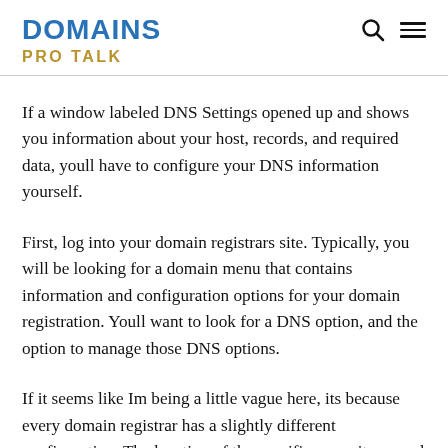DOMAINS PRO TALK
If a window labeled DNS Settings opened up and shows you information about your host, records, and required data, youll have to configure your DNS information yourself.
First, log into your domain registrars site. Typically, you will be looking for a domain menu that contains information and configuration options for your domain registration. Youll want to look for a DNS option, and the option to manage those DNS options.
If it seems like Im being a little vague here, its because every domain registrar has a slightly different configuration. The location of the specific menu items and buttons you need to click varies from registrar to registrar.